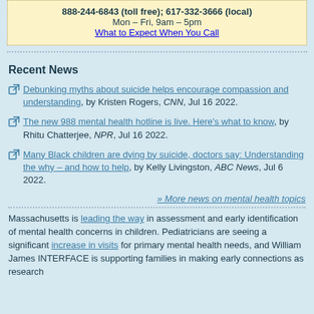888-244-6843 (toll free); 617-332-3666 (local)
Mon – Fri, 9am – 5pm
What to Expect When You Call
Recent News
Debunking myths about suicide helps encourage compassion and understanding, by Kristen Rogers, CNN, Jul 16 2022.
The new 988 mental health hotline is live. Here's what to know, by Rhitu Chatterjee, NPR, Jul 16 2022.
Many Black children are dying by suicide, doctors say: Understanding the why – and how to help, by Kelly Livingston, ABC News, Jul 6 2022.
» More news on mental health topics
Massachusetts is leading the way in assessment and early identification of mental health concerns in children. Pediatricians are seeing a significant increase in visits for primary mental health needs, and William James INTERFACE is supporting families in making early connections as research